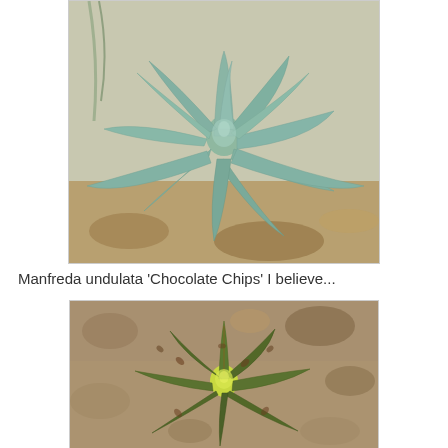[Figure (photo): Top-down view of a large blue-green agave or agave-like succulent plant with broad, smooth leaves arranged in a rosette pattern, photographed in a rocky/sandy garden setting.]
Manfreda undulata 'Chocolate Chips' I believe...
[Figure (photo): Top-down view of a Manfreda undulata 'Chocolate Chips' succulent plant with narrow, green leaves marked with chocolate-brown spots and a yellowish-green center, growing in a rocky substrate.]